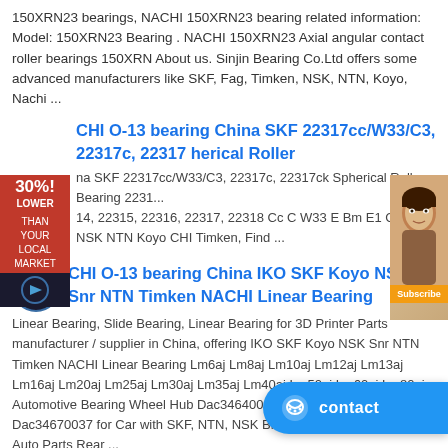150XRN23 bearings, NACHI 150XRN23 bearing related information: Model: 150XRN23 Bearing . NACHI 150XRN23 Axial angular contact roller bearings 150XRN About us. Sinjin Bearing Co.Ltd offers some advanced manufacturers like SKF, Fag, Timken, NSK, NTN, Koyo, Nachi ...
CHI O-13 bearing China SKF 22317cc/W33/C3, 22317c, 22317 herical Roller
na SKF 22317cc/W33/C3, 22317c, 22317ck Spherical Roller Bearing 2231... 14, 22315, 22316, 22317, 22318 Cc C W33 E Bm E1 Ca C3 in NSK NTN Koyo CHI Timken, Find ...
[Figure (other): 30% lower than your local market badge]
[Figure (photo): Woman's face in advertisement image]
CHI O-13 bearing China IKO SKF Koyo NSK Snr NTN Timken NACHI Linear Bearing
Linear Bearing, Slide Bearing, Linear Bearing for 3D Printer Parts manufacturer / supplier in China, offering IKO SKF Koyo NSK Snr NTN Timken NACHI Linear Bearing Lm6aj Lm8aj Lm10aj Lm12aj Lm13aj Lm16aj Lm20aj Lm25aj Lm30aj Lm35aj Lm40aj Lm50aj Lm60aj Lm80aj, Automotive Bearing Wheel Hub Dac34640037 Dac34660037 Dac34670037 for Car with SKF, NTN, NSK Brand, China Supplier Snr Auto Parts Rear ...
NACHI O-13 bearing DEEP GROOVE BALL BEARINGS - Nachi
13-14 15-16 17. Z ZZE Open ZZ ZE NK 2NK NKE 2NKE NSL... all ball bearing types. NACHI Deep-groove Ball Bearings are available in a wide range of sizes...
[Figure (other): Contact button with chat icon]